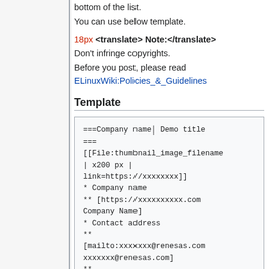bottom of the list.
You can use below template.
18px <translate> Note:</translate>
Don't infringe copyrights.
Before you post, please read ELinuxWiki:Policies_&_Guidelines
Template
===Company name│ Demo title ===
[[File:thumbnail_image_filename
| x200 px |
link=https://xxxxxxxx]]
* Company name
** [https://xxxxxxxxxx.com Company Name]
* Contact address
**
[mailto:xxxxxxx@renesas.com xxxxxxx@renesas.com]
**
[https://xxxxxxxxxx.com/contact